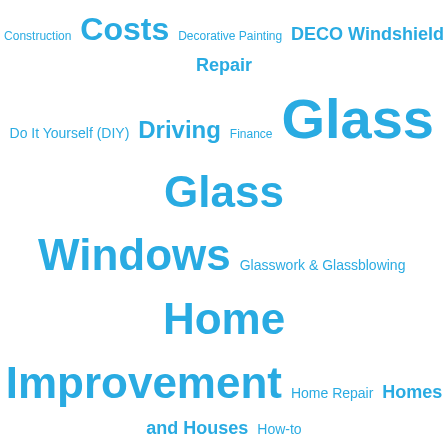[Figure (infographic): Tag cloud of topics related to windshields, glass, home improvement, insurance, repairs, and related subjects. Words appear in various sizes proportional to their frequency/importance, all in light blue color on white background. Largest words: Windshields, Glass, Glass Windows, Home Improvement, Repairs. Medium words: Costs, Driving, Insurance, Insurance Companies. Smaller words: Construction, Decorative Painting, DECO Windshield Repair, Do It Yourself (DIY), Finance, Glasswork & Glassblowing, Home Repair, Homes and Houses, How-to Question, Jeep (company), Law, Legal Issues and Law in Everyday Life, Materials Science and Engineering, Paint, Painting and Paintings (art), Personal Question, Real Estate, Recreational Vehicles, Survey Question, Used Cars, Vehicles, Windows (architecture), Window Tinting, Windshield Wipers.]